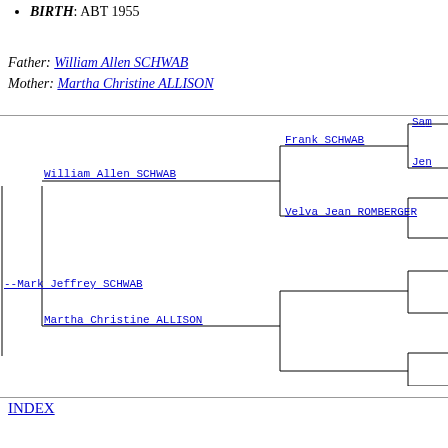BIRTH: ABT 1955
Father: William Allen SCHWAB
Mother: Martha Christine ALLISON
[Figure (organizational-chart): Genealogy pedigree chart showing Mark Jeffrey SCHWAB as the main person, with parents William Allen SCHWAB and Martha Christine ALLISON, grandparents Frank SCHWAB, Velva Jean ROMBERGER on paternal side, and unnamed ancestors on maternal side, with partially visible names Sam- and Jen- on far right.]
INDEX